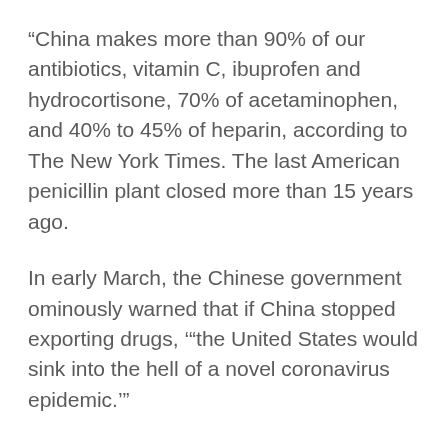“China makes more than 90% of our antibiotics, vitamin C, ibuprofen and hydrocortisone, 70% of acetaminophen, and 40% to 45% of heparin, according to The New York Times. The last American penicillin plant closed more than 15 years ago.
In early March, the Chinese government ominously warned that if China stopped exporting drugs, ‘“the United States would sink into the hell of a novel coronavirus epidemic.’”
Even a lot of the American companies we’re so proud of for stepping up to make masks in this crisis … are making them in China. (New York Times, March 13, 2020: “A General Motors joint venture in southwestern China built 20 of its own